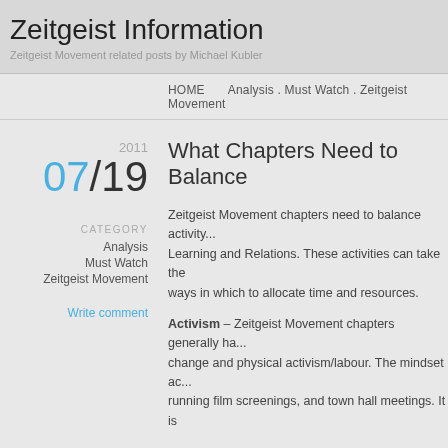Zeitgeist Information
Zeitgeist Movement related posts by Michael Kubler
HOME    Analysis . Must Watch . Zeitgeist Movement
2011
07/19
What Chapters Need to Balance
CATEGORY
Analysis
Must Watch
Zeitgeist Movement
Write comment
Zeitgeist Movement chapters need to balance activity... Learning and Relations. These activities can take the ways in which to allocate time and resources.
Activism – Zeitgeist Movement chapters generally ha... change and physical activism/labour. The mindset ac... running film screenings, and town hall meetings. It is new members and affecting the culture and communi... happens when people understand the different values we want to achieve. Many of the newer ZM members